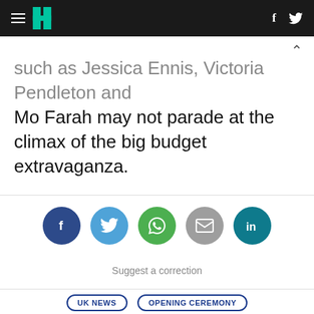HuffPost navigation logo with hamburger menu, facebook and twitter icons
such as Jessica Ennis, Victoria Pendleton and Mo Farah may not parade at the climax of the big budget extravaganza.
[Figure (infographic): Social sharing buttons: Facebook (dark blue), Twitter (light blue), WhatsApp (green), Email (grey), LinkedIn (teal)]
Suggest a correction
UK NEWS   OPENING CEREMONY